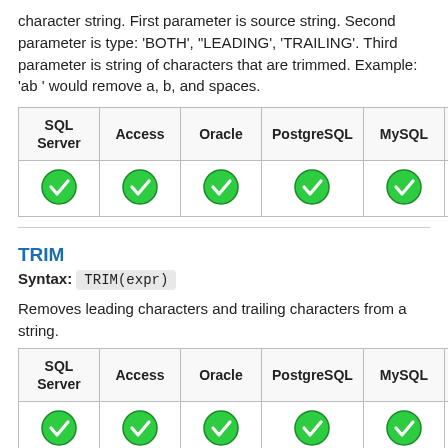character string. First parameter is source string. Second parameter is type: 'BOTH', "LEADING', 'TRAILING'. Third parameter is string of characters that are trimmed. Example: 'ab ' would remove a, b, and spaces.
| SQL Server | Access | Oracle | PostgreSQL | MySQL | Sybase | H… |
| --- | --- | --- | --- | --- | --- | --- |
| ✓ | ✓ | ✓ | ✓ | ✓ | ✓ | … |
TRIM
Syntax: TRIM(expr)
Removes leading characters and trailing characters from a string.
| SQL Server | Access | Oracle | PostgreSQL | MySQL | Sybase | H… |
| --- | --- | --- | --- | --- | --- | --- |
| ✓ | ✓ | ✓ | ✓ | ✓ | ✓ | … |